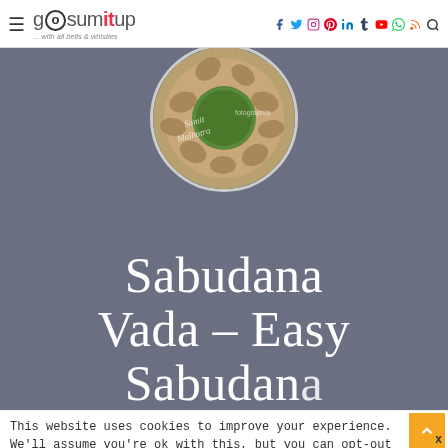gosumitup ... with all bells & whistles
[Figure (photo): Circular photo of sabudana vada snack food arranged on a plate with green chutney in center, with text overlay 'Sumit Malhotra fotographia']
Sabudana Vada – Easy Sabudana
This website uses cookies to improve your experience. We'll assume you're ok with this, but you can opt-out